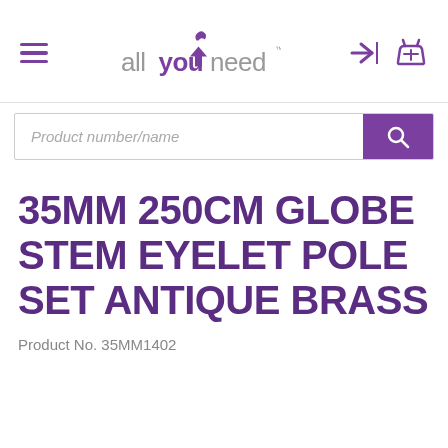[Figure (logo): allyouneed logo with purple house/person icon above the text]
Product number/name
35MM 250CM GLOBE STEM EYELET POLE SET ANTIQUE BRASS
Product No. 35MM1402